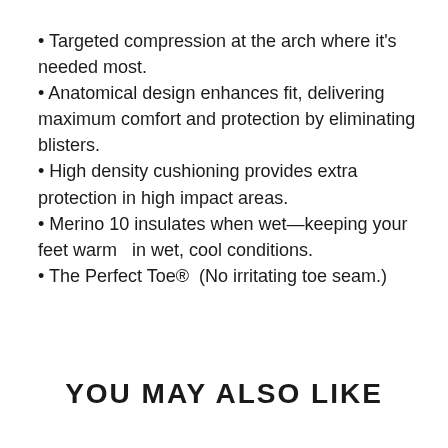Targeted compression at the arch where it's needed most.
Anatomical design enhances fit, delivering maximum comfort and protection by eliminating blisters.
High density cushioning provides extra protection in high impact areas.
Merino 10 insulates when wet—keeping your feet warm  in wet, cool conditions.
The Perfect Toe®  (No irritating toe seam.)
YOU MAY ALSO LIKE